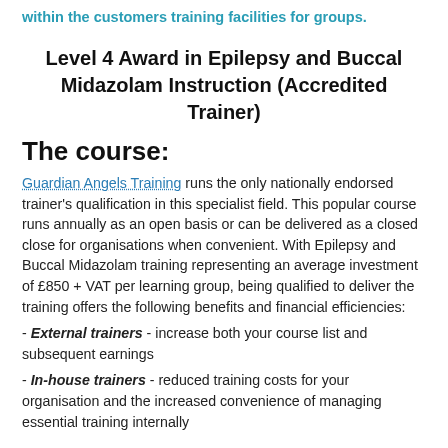within the customers training facilities for groups.
Level 4 Award in Epilepsy and Buccal Midazolam Instruction (Accredited Trainer)
The course:
Guardian Angels Training runs the only nationally endorsed trainer's qualification in this specialist field. This popular course runs annually as an open basis or can be delivered as a closed close for organisations when convenient. With Epilepsy and Buccal Midazolam training representing an average investment of £850 + VAT per learning group, being qualified to deliver the training offers the following benefits and financial efficiencies:
- External trainers - increase both your course list and subsequent earnings
- In-house trainers - reduced training costs for your organisation and the increased convenience of managing essential training internally